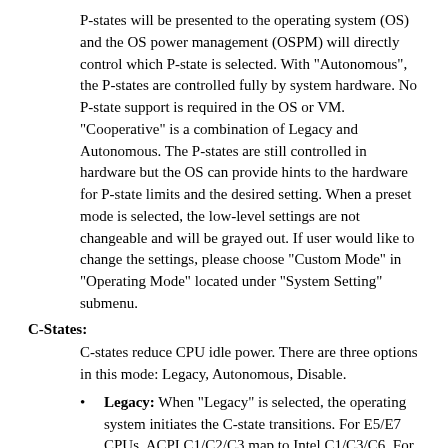P-states will be presented to the operating system (OS) and the OS power management (OSPM) will directly control which P-state is selected. With "Autonomous", the P-states are controlled fully by system hardware. No P-state support is required in the OS or VM. "Cooperative" is a combination of Legacy and Autonomous. The P-states are still controlled in hardware but the OS can provide hints to the hardware for P-state limits and the desired setting. When a preset mode is selected, the low-level settings are not changeable and will be grayed out. If user would like to change the settings, please choose "Custom Mode" in "Operating Mode" located under "System Setting" submenu.
C-States:
C-states reduce CPU idle power. There are three options in this mode: Legacy, Autonomous, Disable.
Legacy: When "Legacy" is selected, the operating system initiates the C-state transitions. For E5/E7 CPUs, ACPI C1/C2/C3 map to Intel C1/C3/C6. For 6500/7500 CPUs, ACPI C1/C3 map to Intel C1/C3 (ACPI C2 is not available). Some OS SW may defeat the ACPI mapping (e.g. intel_idle driver).
Autonomous: When "Autonomous" is selected, HALT and C1 request get converted to C6 requests